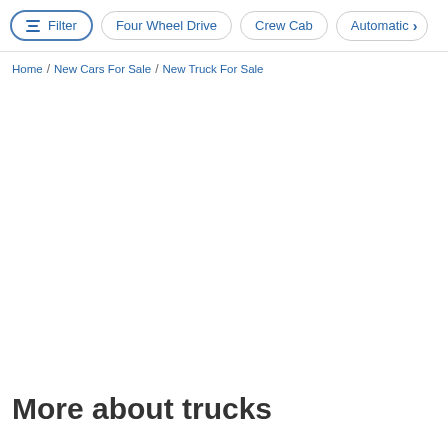Filter | Four Wheel Drive | Crew Cab | Automatic >
Home / New Cars For Sale / New Truck For Sale
More about trucks